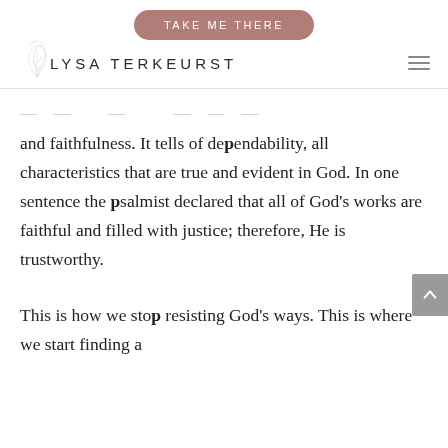[Figure (other): Pink/mauve rounded button with text TAKE ME THERE]
[Figure (logo): Lysa TerKeurst logo with decorative leaf illustration and hamburger menu icon]
and faithfulness. It tells of dependability, all characteristics that are true and evident in God. In one sentence the psalmist declared that all of God's works are faithful and filled with justice; therefore, He is trustworthy.
This is how we stop resisting God's ways. This is where we start finding a